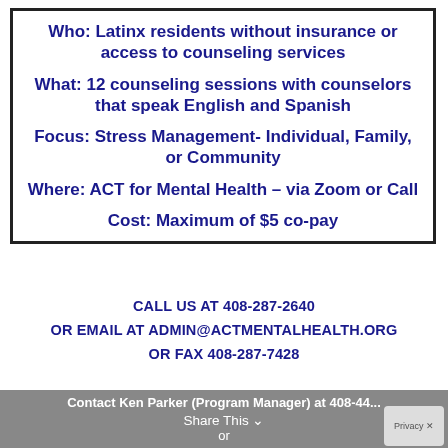Who: Latinx residents without insurance or access to counseling services
What: 12 counseling sessions with counselors that speak English and Spanish
Focus: Stress Management- Individual, Family, or Community
Where: ACT for Mental Health – via Zoom or Call
Cost: Maximum of $5 co-pay
CALL US AT 408-287-2640
OR EMAIL AT ADMIN@ACTMENTALHEALTH.ORG
OR FAX 408-287-7428
Contact Ken Parker (Program Manager) at 408-44... or